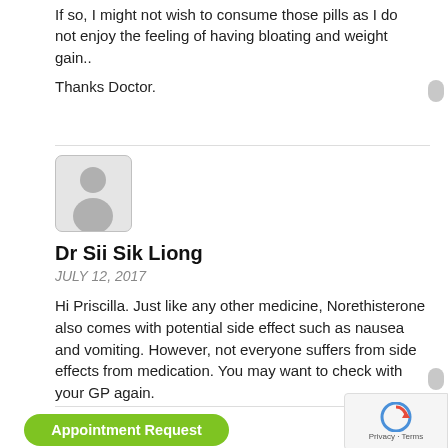If so, I might not wish to consume those pills as I do not enjoy the feeling of having bloating and weight gain..
Thanks Doctor.
[Figure (illustration): User avatar placeholder showing silhouette of a person, grey background with rounded square border]
Dr Sii Sik Liong
JULY 12, 2017
Hi Priscilla. Just like any other medicine, Norethisterone also comes with potential side effect such as nausea and vomiting. However, not everyone suffers from side effects from medication. You may want to check with your GP again.
Appointment Request